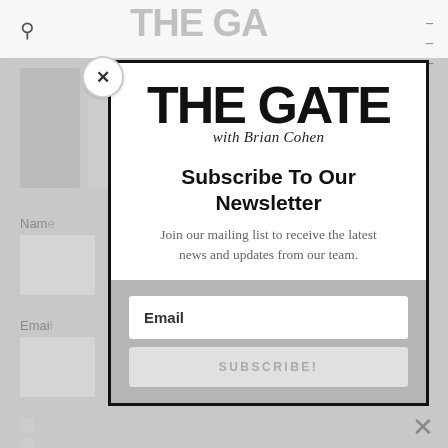[Figure (screenshot): Background of a webpage with navigation bar showing search icon and hamburger menu, dimmed behind a modal overlay. The Gate website header text is partially visible at the top.]
[Figure (other): Close button circle with X at top-left of modal]
THE GATE with Brian Cohen
Subscribe To Our Newsletter
Join our mailing list to receive the latest news and updates from our team.
Email
SUBSCRIBE!